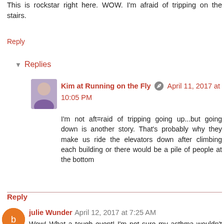This is rockstar right here. WOW. I'm afraid of tripping on the stairs.
Reply
Replies
Kim at Running on the Fly  April 11, 2017 at 10:05 PM
I'm not aft=raid of tripping going up...but going down is another story. That's probably why they make us ride the elevators down after climbing each building or there would be a pile of people at the bottom
Reply
julie Wunder  April 12, 2017 at 7:25 AM
Wow! What a tough event! I'm not sure my asthma wouldn't freak out if I tried to that that! It didn't go exactly how you wanted, but that's still a great time! Congrats-- so much to